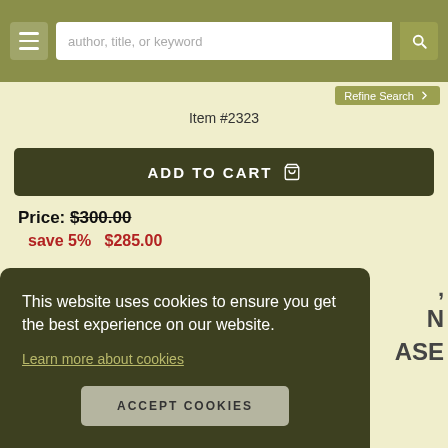author, title, or keyword | Refine Search
Item #2323
ADD TO CART
Price: $300.00
save 5%   $285.00
Item Details
This website uses cookies to ensure you get the best experience on our website.
Learn more about cookies
ACCEPT COOKIES